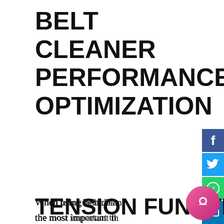BELT CLEANER PERFORMANCE OPTIMIZATION
When using belt cleaners, the most important thing to pay attention to is belt tension. This is often overlooked due to the emphasis on the maintenance, repair, and replacement. We will discuss the main things about belt fastening and why you should get the most out of your conveyor system.
TENSION FUNCTI...